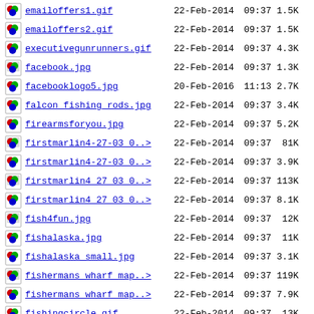emailoffers1.gif  22-Feb-2014 09:37  1.5K
emailoffers2.gif  22-Feb-2014 09:37  1.5K
executivegunrunners.gif  22-Feb-2014 09:37  4.3K
facebook.jpg  22-Feb-2014 09:37  1.3K
facebooklogo5.jpg  20-Feb-2016 11:13  2.7K
falcon_fishing_rods.jpg  22-Feb-2014 09:37  3.4K
firearmsforyou.jpg  22-Feb-2014 09:37  5.2K
firstmarlin4-27-03 0..>  22-Feb-2014 09:37  81K
firstmarlin4-27-03 0..>  22-Feb-2014 09:37  3.9K
firstmarlin4 27 03 0..>  22-Feb-2014 09:37  113K
firstmarlin4 27 03 0..>  22-Feb-2014 09:37  8.1K
fish4fun.jpg  22-Feb-2014 09:37  12K
fishalaska.jpg  22-Feb-2014 09:37  11K
fishalaska_small.jpg  22-Feb-2014 09:37  3.1K
fishermans_wharf_map..>  22-Feb-2014 09:37  119K
fishermans_wharf_map..>  22-Feb-2014 09:37  7.9K
fishingcircle.gif  22-Feb-2014 09:37  13K